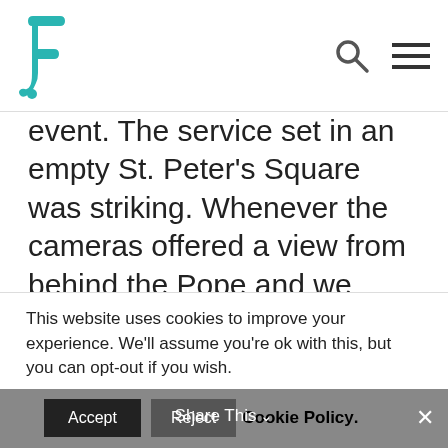F logo, search icon, hamburger menu
event.  The service set in an empty St. Peter's Square was striking.  Whenever the cameras offered a view from behind the Pope and we looked outward from the doors of the Basilica, we saw this unprecedented (that word may be showing up a lot in these days) panorama of this historic gathering place without a single soul.  Usually, with the presence of the Holy Father, the area would throng with visitors and pilgrims
This website uses cookies to improve your experience. We'll assume you're ok with this, but you can opt-out if you wish.
Accept  Reject  Cookie Policy.  Share This  ✕